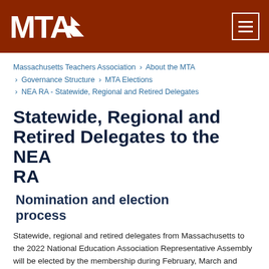MTA
Massachusetts Teachers Association › About the MTA › Governance Structure › MTA Elections › NEA RA - Statewide, Regional and Retired Delegates
Statewide, Regional and Retired Delegates to the NEA RA
Nomination and election process
Statewide, regional and retired delegates from Massachusetts to the 2022 National Education Association Representative Assembly will be elected by the membership during February, March and April. The NEA RA is the world's largest democratic deliberative assembly. As a state affiliate of the NEA, the MTA